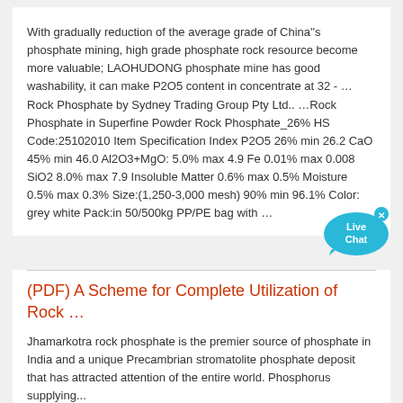With gradually reduction of the average grade of China''s phosphate mining, high grade phosphate rock resource become more valuable; LAOHUDONG phosphate mine has good washability, it can make P2O5 content in concentrate at 32 - …Rock Phosphate by Sydney Trading Group Pty Ltd.. …Rock Phosphate in Superfine Powder Rock Phosphate_26% HS Code:25102010 Item Specification Index P2O5 26% min 26.2 CaO 45% min 46.0 Al2O3+MgO: 5.0% max 4.9 Fe 0.01% max 0.008 SiO2 8.0% max 7.9 Insoluble Matter 0.6% max 0.5% Moisture 0.5% max 0.3% Size:(1,250-3,000 mesh) 90% min 96.1% Color: grey white Pack:in 50/500kg PP/PE bag with …
[Figure (other): Live Chat button overlay — a cyan speech bubble with 'Live Chat' text and a close (x) button]
(PDF) A Scheme for Complete Utilization of Rock …
Jhamarkotra rock phosphate is the premier source of phosphate in India and a unique Precambrian stromatolite phosphate deposit that has attracted attention of the entire world. Phosphorus supplying...